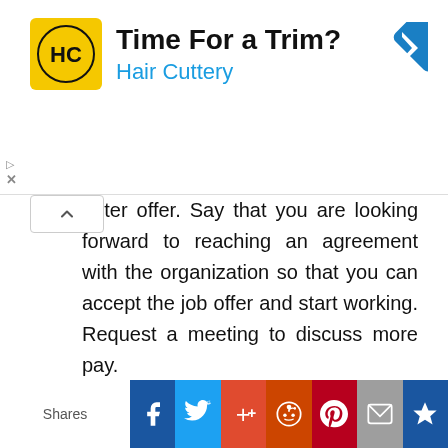[Figure (other): Hair Cuttery advertisement banner with yellow logo, 'Time For a Trim?' headline, and blue navigation arrow icon]
unter offer. Say that you are looking forward to reaching an agreement with the organization so that you can accept the job offer and start working. Request a meeting to discuss more pay.
Offer to call the address three business days later to make an appointment. Get excited about starting work for the organization and mention that you have specific goals you want to achieve as you
[Figure (other): Social sharing bar with Facebook, Twitter, Google+, Reddit, Pinterest, Email, and bookmark icons]